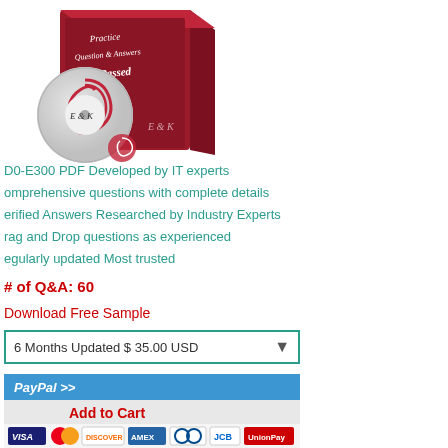[Figure (illustration): E&K practice Q&A 100% Passed Guarantee product box with CD/DVD disc, red box packaging]
D0-E300 PDF Developed by IT experts
omprehensive questions with complete details
erified Answers Researched by Industry Experts
rag and Drop questions as experienced
egularly updated Most trusted
# of Q&A: 60
Download Free Sample
6 Months Updated $ 35.00 USD
[Figure (illustration): PayPal Add to Cart button with payment card logos (Visa, Mastercard, Discover, Amex, Diners, JCB, UnionPay)]